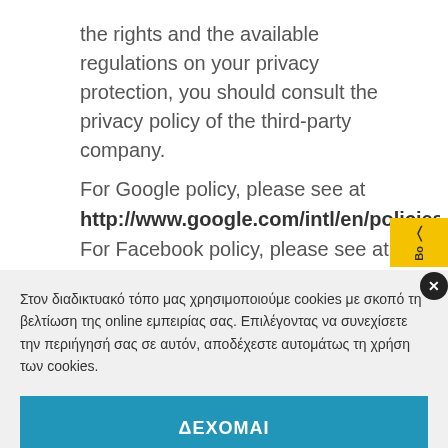the rights and the available regulations on your privacy protection, you should consult the privacy policy of the third-party company.
For Google policy, please see at http://www.google.com/intl/en/policies/p For Facebook policy, please see at
Στον διαδικτυακό τόπο μας χρησιμοποιούμε cookies με σκοπό τη βελτίωση της online εμπειρίας σας. Επιλέγοντας να συνεχίσετε την περιήγησή σας σε αυτόν, αποδέχεστε αυτομάτως τη χρήση των cookies.
ΔΕΧΟΜΑΙ
prevent the storage of cookies in